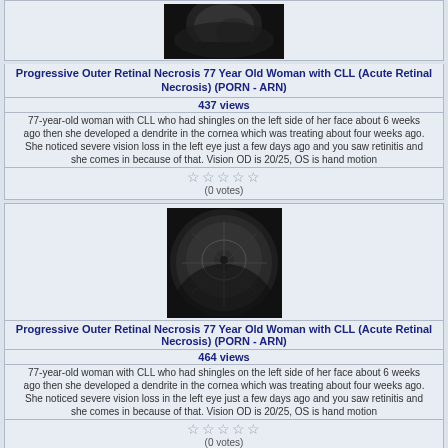[Figure (photo): Grayscale fundus/eye image partially cropped at top]
Progressive Outer Retinal Necrosis 77 Year Old Woman with CLL (Acute Retinal Necrosis) (PORN - ARN)
437 views
77-year-old woman with CLL who had shingles on the left side of her face about 6 weeks ago then she developed a dendrite in the cornea which was treating about four weeks ago. She noticed severe vision loss in the left eye just a few days ago and you saw retinitis and she comes in because of that. Vision OD is 20/25, OS is hand motion
(0 votes)
[Figure (photo): Grayscale circular fundus photograph showing retinal vasculature]
Progressive Outer Retinal Necrosis 77 Year Old Woman with CLL (Acute Retinal Necrosis) (PORN - ARN)
464 views
77-year-old woman with CLL who had shingles on the left side of her face about 6 weeks ago then she developed a dendrite in the cornea which was treating about four weeks ago. She noticed severe vision loss in the left eye just a few days ago and you saw retinitis and she comes in because of that. Vision OD is 20/25, OS is hand motion
(0 votes)
24 files on 1 page(s)
Powered by Coppermine Photo Gallery